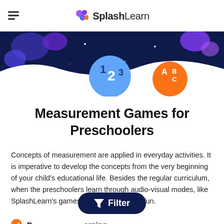SplashLearn
[Figure (illustration): Dark navy hero banner with colorful blobs, a blue circle with '123', and an orange circle with 'ABC' letters on a space-themed background]
Measurement Games for Preschoolers
Concepts of measurement are applied in everyday activities. It is imperative to develop the concepts from the very beginning of your child's educational life. Besides the regular curriculum, when the preschoolers learn through audio-visual modes, like SplashLearn's games, learning becomes fun.
Personalized Learning
Fun Rewards
[Figure (screenshot): Dark navy pill-shaped Filter button with funnel icon in the center-bottom area]